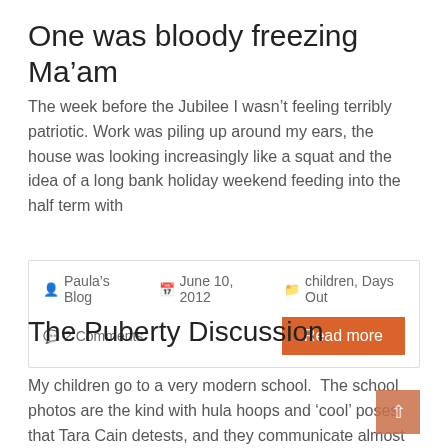One was bloody freezing Ma’am
The week before the Jubilee I wasn’t feeling terribly patriotic. Work was piling up around my ears, the house was looking increasingly like a squat and the idea of a long bank holiday weekend feeding into the half term with
Paula’s Blog  June 10, 2012  children, Days Out  2 Comments  Read more
The Puberty Discussion
My children go to a very modern school.  The school photos are the kind with hula hoops and ‘cool’ poses that Tara Cain detests, and they communicate almost exclusively by email. Most of the 80…